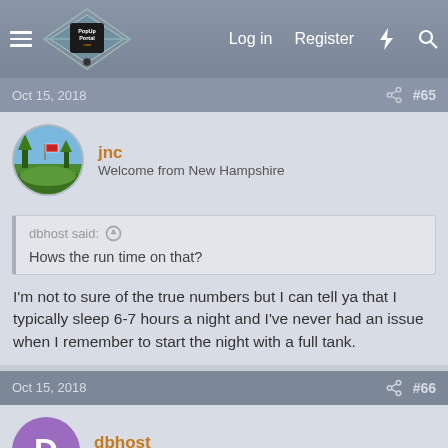PopUpPortal.com — Log in  Register
Oct 15, 2018  #65
jnc
Welcome from New Hampshire
dbhost said:
Hows the run time on that?
I'm not to sure of the true numbers but I can tell ya that I typically sleep 6-7 hours a night and I've never had an issue when I remember to start the night with a full tank.
Oct 15, 2018  #66
dbhost
Super Active Member